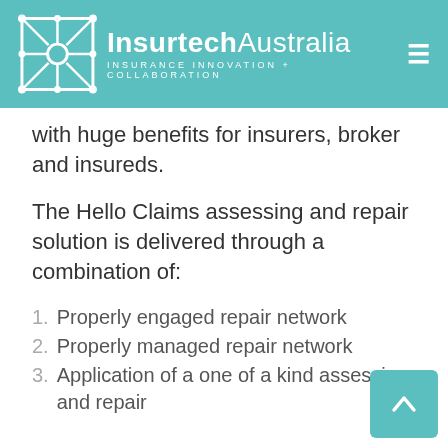Insurtech Australia — Insurance Innovation + Collaboration
with huge benefits for insurers, broker and insureds.
The Hello Claims assessing and repair solution is delivered through a combination of:
1. Properly engaged repair network
2. Properly managed repair network
3. Application of a one of a kind assessing and repair